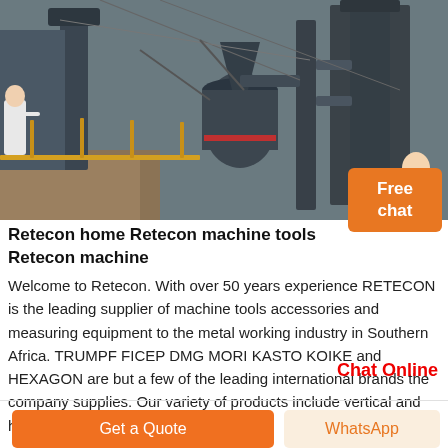[Figure (photo): Industrial machinery / mill equipment at an outdoor construction or mining site, showing large dark metal cylinders, pipes, ducts, scaffolding and a yellow railing. A person in a white shirt is visible at the left edge.]
Retecon home Retecon machine tools Retecon machine
Welcome to Retecon. With over 50 years experience RETECON is the leading supplier of machine tools accessories and measuring equipment to the metal working industry in Southern Africa. TRUMPF FICEP DMG MORI KASTO KOIKE and HEXAGON are but a few of the leading international brands the company supplies. Our variety of products include vertical and horizontal machining centres turning
Chat Online
Get a Quote
WhatsApp